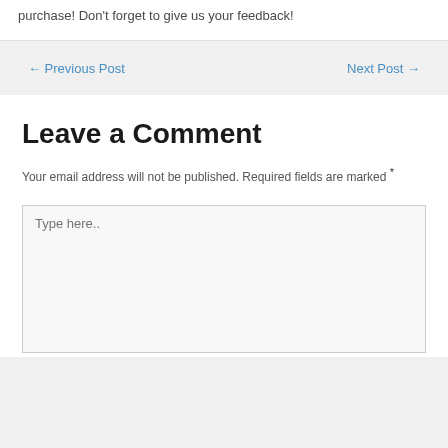purchase! Don't forget to give us your feedback!
← Previous Post
Next Post →
Leave a Comment
Your email address will not be published. Required fields are marked *
Type here..